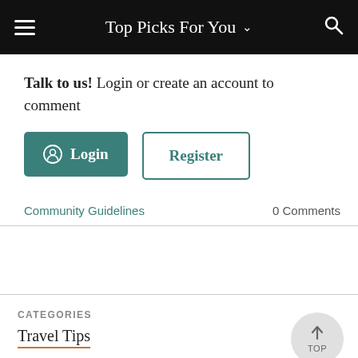Top Picks For You
Talk to us! Login or create an account to comment
Login | Register
Community Guidelines    0 Comments
CATEGORIES
Travel Tips